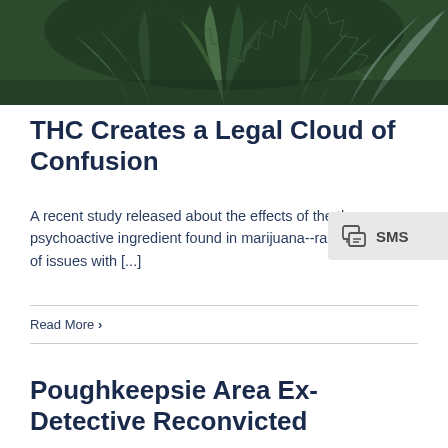[Figure (photo): Close-up photograph of cannabis/marijuana plant leaves with green serrated leaves filling the frame]
THC Creates a Legal Cloud of Confusion
A recent study released about the effects of the the psychoactive ingredient found in marijuana--raises a host of issues with [...]
Read More >
Poughkeepsie Area Ex-Detective Reconvicted